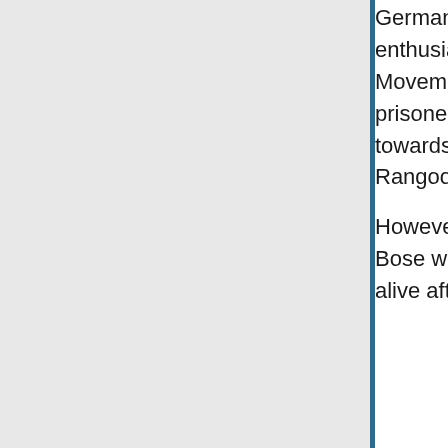Germany and Japan against British Empire. In Japan he created enthusiasm in India. In July 1943, he arrived in Singapore. He took over the Indian National Movement in East Asia from Rash Behari Bose and organized the Indian National Army from prisoners of war. He was hailed as Netaji by the Army. He led the Indian National Army towards India to liberate it from British rule. Enroute he established the capital at Rangoon in January 1944. Azad Hind Fauj crossed the border.
However, defeat of Japan and Germany in the Second World War led to failure. Bose was reportedly killed in an air crash over Taiwan. Whether Bose was dead or alive after the air crash not much information could be gathered.